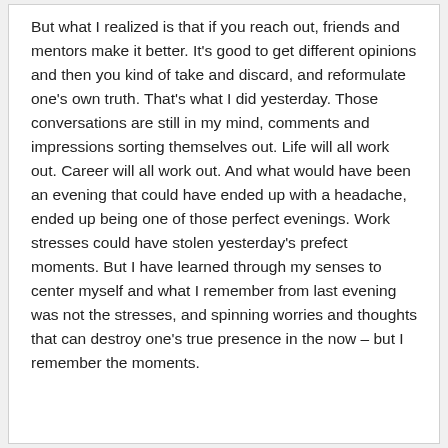But what I realized is that if you reach out, friends and mentors make it better. It's good to get different opinions and then you kind of take and discard, and reformulate one's own truth. That's what I did yesterday. Those conversations are still in my mind, comments and impressions sorting themselves out. Life will all work out. Career will all work out. And what would have been an evening that could have ended up with a headache, ended up being one of those perfect evenings. Work stresses could have stolen yesterday's prefect moments. But I have learned through my senses to center myself and what I remember from last evening was not the stresses, and spinning worries and thoughts that can destroy one's true presence in the now – but I remember the moments.